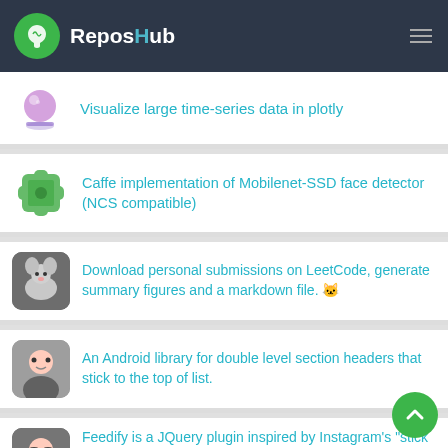ReposHub
Visualize large time-series data in plotly
Caffe implementation of Mobilenet-SSD face detector (NCS compatible)
Download personal submissions on LeetCode, generate summary figures and a markdown file. 🐱
An Android library for double level section headers that stick to the top of list.
Feedify is a JQuery plugin inspired by Instagram's "stick to top then drop" effect